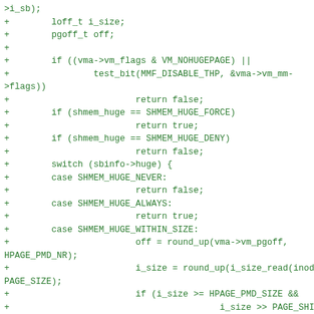>i_sb);
+        loff_t i_size;
+        pgoff_t off;
+
+        if ((vma->vm_flags & VM_NOHUGEPAGE) ||
+                test_bit(MMF_DISABLE_THP, &vma->vm_mm->flags))
+                        return false;
+        if (shmem_huge == SHMEM_HUGE_FORCE)
+                        return true;
+        if (shmem_huge == SHMEM_HUGE_DENY)
+                        return false;
+        switch (sbinfo->huge) {
+        case SHMEM_HUGE_NEVER:
+                        return false;
+        case SHMEM_HUGE_ALWAYS:
+                        return true;
+        case SHMEM_HUGE_WITHIN_SIZE:
+                        off = round_up(vma->vm_pgoff, HPAGE_PMD_NR);
+                        i_size = round_up(i_size_read(inode), PAGE_SIZE);
+                        if (i_size >= HPAGE_PMD_SIZE &&
+                                                i_size >> PAGE_SHIFT >= off)
+                                return true;
+                fallthrough;
+        case SHMEM_HUGE_ADVISE:
+                        /* TODO: implement fadvise() hints */
+                        return (vma->vm_flags & VM_HUGEPAGE);